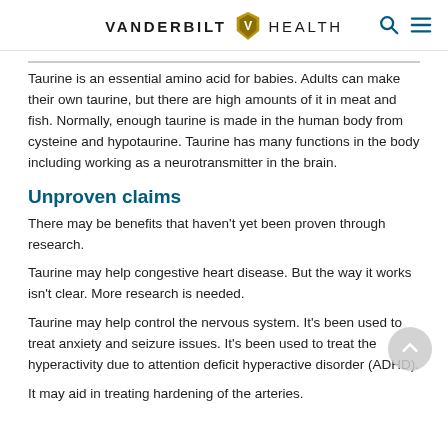VANDERBILT HEALTH
Taurine is an essential amino acid for babies. Adults can make their own taurine, but there are high amounts of it in meat and fish. Normally, enough taurine is made in the human body from cysteine and hypotaurine. Taurine has many functions in the body including working as a neurotransmitter in the brain.
Unproven claims
There may be benefits that haven't yet been proven through research.
Taurine may help congestive heart disease. But the way it works isn't clear. More research is needed.
Taurine may help control the nervous system. It's been used to treat anxiety and seizure issues. It's been used to treat the hyperactivity due to attention deficit hyperactive disorder (ADHD).
It may aid in treating hardening of the arteries.